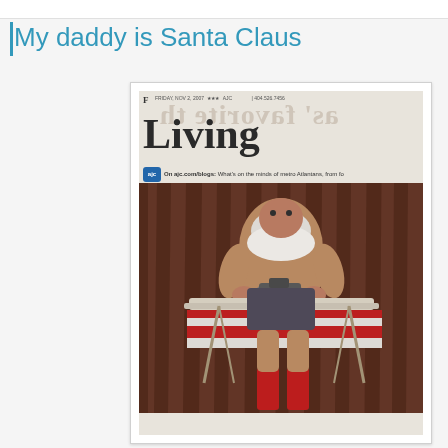My daddy is Santa Claus
[Figure (photo): A newspaper clipping showing the AJC Living section front page featuring a humorous photo of a heavyset man dressed partially as Santa Claus (wearing only Santa hat, red socks, and boxer shorts) ironing his Santa suit on an ironing board. The newspaper header shows 'Living' in large serif font with 'F' section label and AJC logo with caption 'On ajc.com/blogs: What's on the minds of metro Atlantans, from fo...']